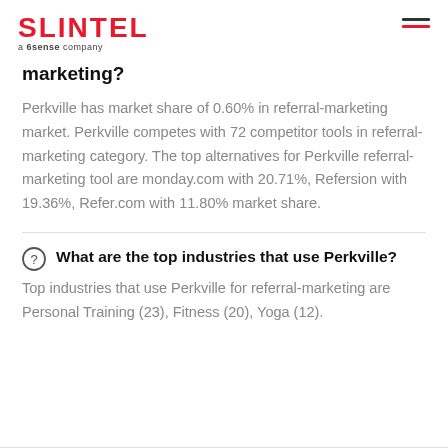SLINTEL a 6sense company
marketing?
Perkville has market share of 0.60% in referral-marketing market. Perkville competes with 72 competitor tools in referral-marketing category. The top alternatives for Perkville referral-marketing tool are monday.com with 20.71%, Refersion with 19.36%, Refer.com with 11.80% market share.
What are the top industries that use Perkville?
Top industries that use Perkville for referral-marketing are Personal Training (23), Fitness (20), Yoga (12).